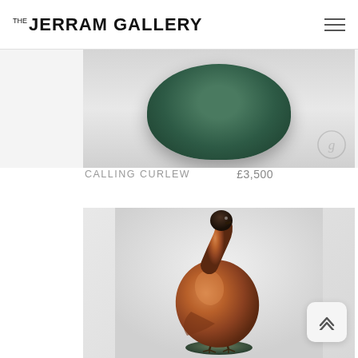THE JERRAM GALLERY
[Figure (photo): Partial view of a bronze sculpture (top portion) on a light grey background, with a watermark logo in the lower right corner]
CALLING CURLEW   £3,500
[Figure (photo): Bronze sculpture of a curlew bird standing upright with head raised, on a small oval base, against a light grey background]